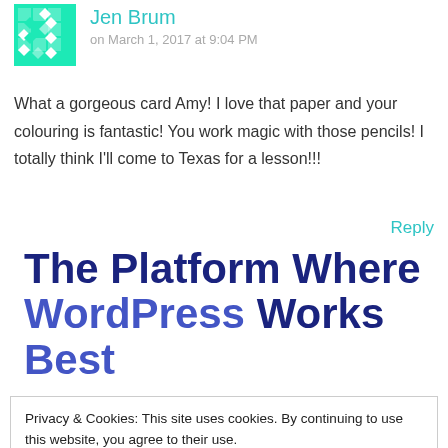[Figure (illustration): Green geometric avatar/avatar icon with teal diamond pattern]
Jen Brum
on March 1, 2017 at 9:04 PM
What a gorgeous card Amy! I love that paper and your colouring is fantastic! You work magic with those pencils! I totally think I'll come to Texas for a lesson!!!
Reply
The Platform Where WordPress Works Best
Privacy & Cookies: This site uses cookies. By continuing to use this website, you agree to their use.
To find out more, including how to control cookies, see here: Cookie Policy
Close and accept